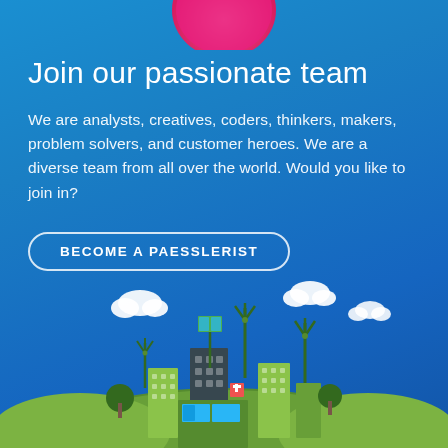[Figure (illustration): Partial pink/coral circular shape cropped at top of page, suggesting a logo or avatar]
Join our passionate team
We are analysts, creatives, coders, thinkers, makers, problem solvers, and customer heroes. We are a diverse team from all over the world. Would you like to join in?
BECOME A PAESSLERIST
[Figure (illustration): Green eco-city illustration with buildings, wind turbines, solar panels, trees, and clouds on a blue gradient background]